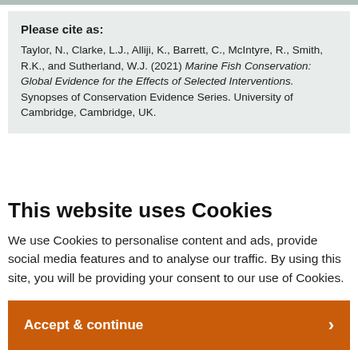Please cite as: Taylor, N., Clarke, L.J., Alliji, K., Barrett, C., McIntyre, R., Smith, R.K., and Sutherland, W.J. (2021) Marine Fish Conservation: Global Evidence for the Effects of Selected Interventions. Synopses of Conservation Evidence Series. University of Cambridge, Cambridge, UK.
This website uses Cookies
We use Cookies to personalise content and ads, provide social media features and to analyse our traffic. By using this site, you will be providing your consent to our use of Cookies.
Accept & continue